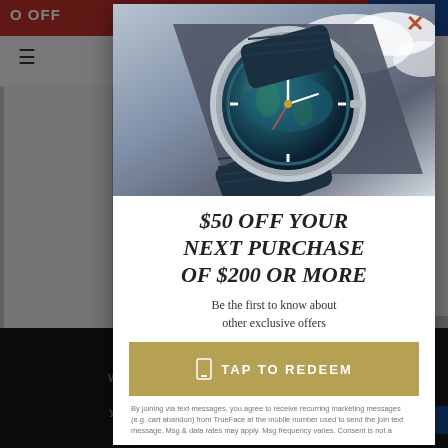[Figure (screenshot): Website popup modal showing a luxury watch (Omega Seamaster) advertisement with a $50 off promotion over $200 purchase. Background shows a blurred website with red top banner, hamburger menu, and dark cookie consent bar. Modal contains watch product image, promotional text, TAP TO REDEEM button, and legal footnote.]
$50 OFF YOUR NEXT PURCHASE OF $200 OR MORE
Be the first to know about other exclusive offers
TAP TO REDEEM
By joining via text messages, you agree to receive recurring marketing messages (e.g. cart abandon) from TrueFace at the mobile number used to send the join text message. Msg & data rates may apply. Msg frequency varies. Consent is not a